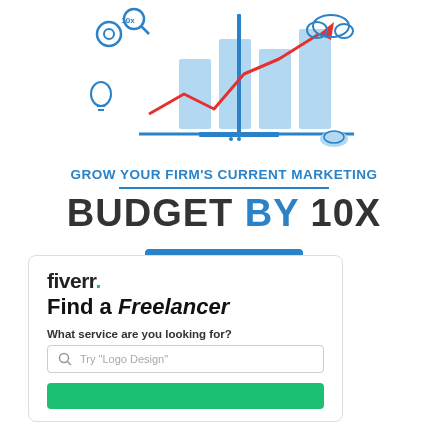[Figure (illustration): Marketing analytics illustration with chart showing upward trend, gear icons, lightbulb, cloud, and magnifying glass on blue and white background]
GROW YOUR FIRM'S CURRENT MARKETING
BUDGET BY 10X
CLICK HERE
[Figure (screenshot): Fiverr ad card with logo, Find a Freelancer heading, search box with placeholder Try Logo Design, and green button]
fiverr.
Find a Freelancer
What service are you looking for?
Try "Logo Design"